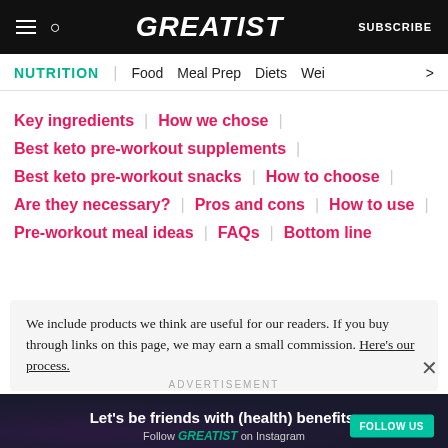GREATIST | SUBSCRIBE
NUTRITION | Food | Meal Prep | Diets | Wei >
Key ingredients | How we chose |
Best keto pre-workout supplements |
Best keto pre-workout snacks | How to choose |
Are they necessary? | Pros and cons | How to use |
Pre-workout meal ideas | FAQs | Bottom line
We include products we think are useful for our readers. If you buy through links on this page, we may earn a small commission. Here's our process.
ADVERTISEMENT
[Figure (infographic): Advertisement banner: Let's be friends with (health) benefits. Follow GREATIST on Instagram. FOLLOW US button.]